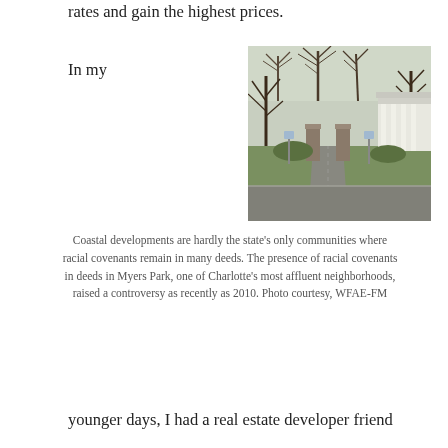rates and gain the highest prices.
In my
[Figure (photo): Entrance to Myers Park neighborhood in Charlotte, with stone pillars, tree-lined street, and a white columned house in the background.]
Coastal developments are hardly the state's only communities where racial covenants remain in many deeds. The presence of racial covenants in deeds in Myers Park, one of Charlotte's most affluent neighborhoods, raised a controversy as recently as 2010. Photo courtesy, WFAE-FM
younger days, I had a real estate developer friend